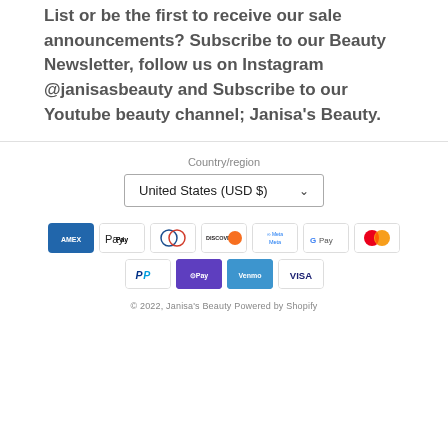List or be the first to receive our sale announcements? Subscribe to our Beauty Newsletter, follow us on Instagram @janisasbeauty and Subscribe to our Youtube beauty channel; Janisa's Beauty.
Country/region
United States (USD $)
[Figure (other): Payment method icons: American Express, Apple Pay, Diners Club, Discover, Meta Pay, Google Pay, Mastercard, PayPal, Shop Pay, Venmo, Visa]
© 2022, Janisa's Beauty Powered by Shopify